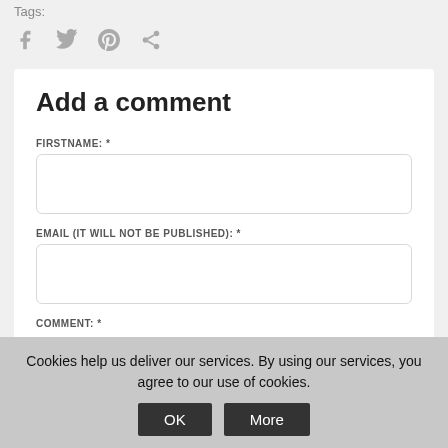Tags:
[Figure (other): Social sharing icons: Facebook, Twitter, Pinterest, Share]
Add a comment
FIRSTNAME: *
EMAIL (IT WILL NOT BE PUBLISHED): *
COMMENT: *
Cookies help us deliver our services. By using our services, you agree to our use of cookies.
OK
More